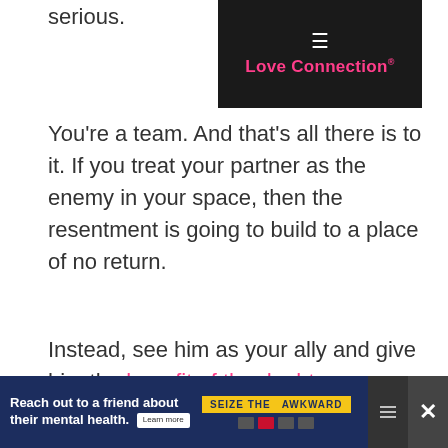serious.
Love Connection
You're a team. And that's all there is to it. If you treat your partner as the enemy in your space, then the resentment is going to build to a place of no return.
Instead, see him as your ally and give him the benefit of the doubt.
[Figure (other): Advertisement box with space-themed illustration showing planets and stars on dark background]
[Figure (other): Bottom banner ad: 'Reach out to a friend about their mental health. Learn more' with 'SEIZE THE AWKWARD' yellow button and Ad Council logos]